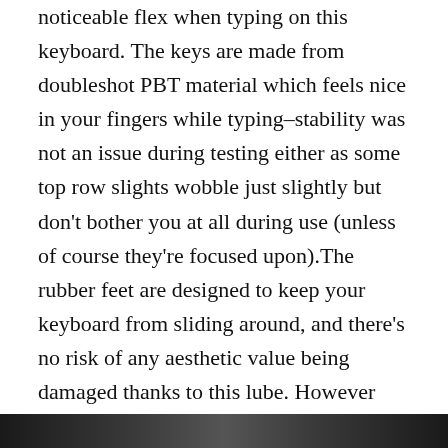noticeable flex when typing on this keyboard. The keys are made from doubleshot PBT material which feels nice in your fingers while typing–stability was not an issue during testing either as some top row slights wobble just slightly but don't bother you at all during use (unless of course they're focused upon).The rubber feet are designed to keep your keyboard from sliding around, and there's no risk of any aesthetic value being damaged thanks to this lube. However one thing we noticed is that underneath the spacebar a bit towards either side near where they meet with each other you can see some residue on ours which might be annoying if you're trying not only clean but also maintain its appearance in general over time.
[Figure (photo): A photo strip at the bottom of the page showing a partial view of a keyboard or related hardware, mostly dark/black tones.]